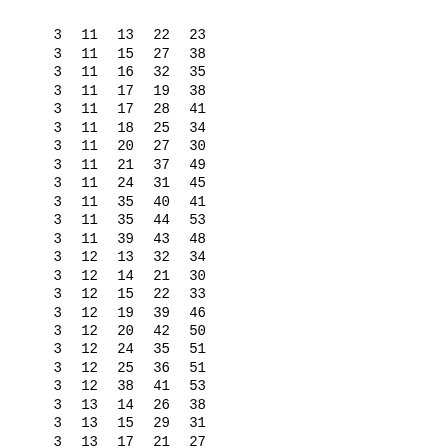| 3 | 11 | 13 | 22 | 23 |
| 3 | 11 | 15 | 27 | 38 |
| 3 | 11 | 16 | 32 | 35 |
| 3 | 11 | 17 | 19 | 38 |
| 3 | 11 | 17 | 28 | 41 |
| 3 | 11 | 18 | 25 | 34 |
| 3 | 11 | 20 | 27 | 30 |
| 3 | 11 | 21 | 37 | 49 |
| 3 | 11 | 24 | 31 | 45 |
| 3 | 11 | 35 | 40 | 41 |
| 3 | 11 | 35 | 44 | 53 |
| 3 | 11 | 39 | 43 | 48 |
| 3 | 12 | 13 | 32 | 34 |
| 3 | 12 | 14 | 21 | 30 |
| 3 | 12 | 15 | 22 | 33 |
| 3 | 12 | 19 | 39 | 46 |
| 3 | 12 | 20 | 42 | 50 |
| 3 | 12 | 24 | 35 | 51 |
| 3 | 12 | 25 | 36 | 51 |
| 3 | 12 | 38 | 41 | 53 |
| 3 | 13 | 14 | 26 | 38 |
| 3 | 13 | 15 | 29 | 31 |
| 3 | 13 | 17 | 21 | 27 |
| 3 | 13 | 18 | 41 | 43 |
| 3 | 13 | 21 | 40 | 42 |
| 3 | 13 | 24 | 33 | 39 |
| 3 | 13 | 37 | 51 | 54 |
| 3 | 13 | 42 | 46 | 47 |
| 3 | 13 | 45 | 49 | 52 |
| 3 | 14 | 15 | 42 | 51 |